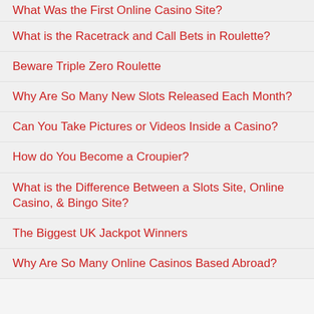What Was the First Online Casino Site?
What is the Racetrack and Call Bets in Roulette?
Beware Triple Zero Roulette
Why Are So Many New Slots Released Each Month?
Can You Take Pictures or Videos Inside a Casino?
How do You Become a Croupier?
What is the Difference Between a Slots Site, Online Casino, & Bingo Site?
The Biggest UK Jackpot Winners
Why Are So Many Online Casinos Based Abroad?